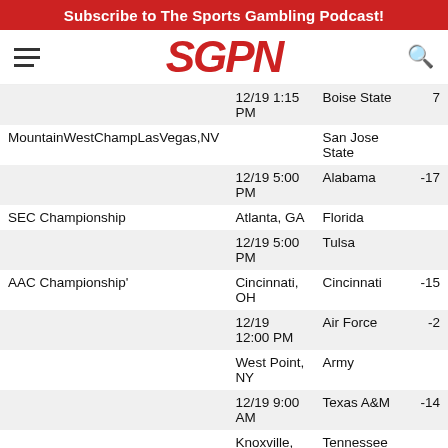Subscribe to The Sports Gambling Podcast!
[Figure (logo): SGPN logo in red italic bold text with hamburger menu icon and search icon]
| Game | Date/Time | Team | Spread |
| --- | --- | --- | --- |
|  | 12/19 1:15 PM | Boise State | 7 |
| MountainWestChampLasVegas,NV |  | San Jose State |  |
|  | 12/19 5:00 PM | Alabama | -17 |
| SEC Championship | Atlanta, GA | Florida |  |
|  | 12/19 5:00 PM | Tulsa |  |
| AAC Championship' | Cincinnati, OH | Cincinnati | -15 |
|  | 12/19 12:00 PM | Air Force | -2 |
|  | West Point, NY | Army |  |
|  | 12/19 9:00 AM | Texas A&M | -14 |
|  | Knoxville, TN | Tennessee |  |
|  | 12/19 4:00 | Michigan |  |